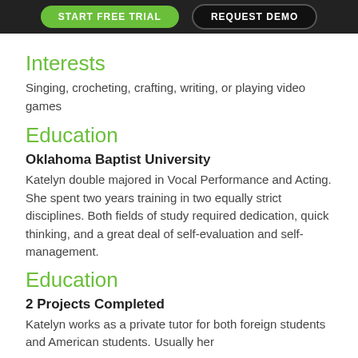[Figure (screenshot): Dark header bar with two buttons: 'START FREE TRIAL' (green, rounded) and 'REQUEST DEMO' (dark, rounded)]
Interests
Singing, crocheting, crafting, writing, or playing video games
Education
Oklahoma Baptist University
Katelyn double majored in Vocal Performance and Acting. She spent two years training in two equally strict disciplines. Both fields of study required dedication, quick thinking, and a great deal of self-evaluation and self-management.
Education
2 Projects Completed
Katelyn works as a private tutor for both foreign students and American students. Usually her